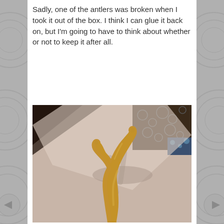Sadly, one of the antlers was broken when I took it out of the box. I think I can glue it back on, but I'm going to have to think about whether or not to keep it after all.
[Figure (photo): A golden/tan colored broken antler (Y-shaped, two tines) lying on a light pinkish-beige surface, with a decorative patterned fabric visible in the upper right corner. The antler casts a shadow on the surface.]